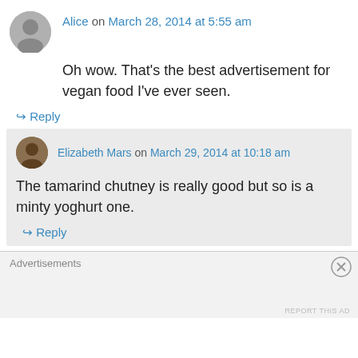Alice on March 28, 2014 at 5:55 am
Oh wow. That's the best advertisement for vegan food I've ever seen.
↳ Reply
Elizabeth Mars on March 29, 2014 at 10:18 am
The tamarind chutney is really good but so is a minty yoghurt one.
↳ Reply
Advertisements